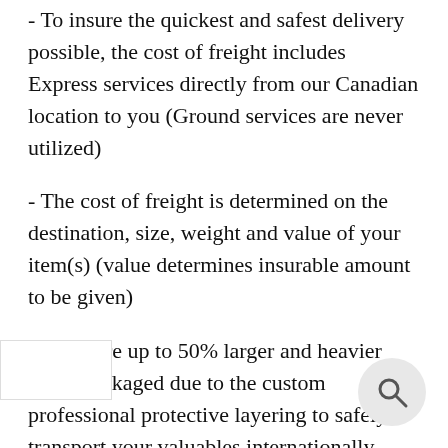- To insure the quickest and safest delivery possible, the cost of freight includes Express services directly from our Canadian location to you (Ground services are never utilized)
- The cost of freight is determined on the destination, size, weight and value of your item(s) (value determines insurable amount to be given)
- Items are up to 50% larger and heavier when packaged due to the custom professional protective layering to safely transport your valuables internationally.
- The cost for the shipping of your item(s) is